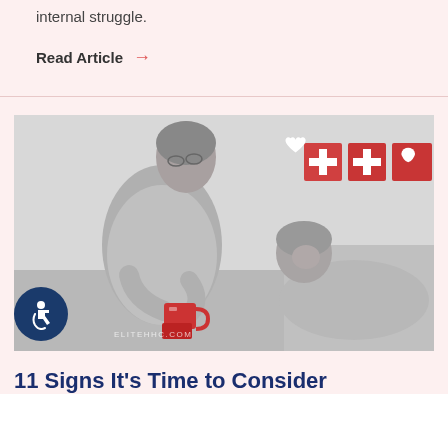internal struggle.
Read Article →
[Figure (photo): A caregiver woman bending over to hand a red mug to an elderly person reclining, with three red medical/heart symbol wall art pieces in background. Black and white photo with red accents. Watermark: ELITEHHC.COM]
11 Signs It's Time to Consider